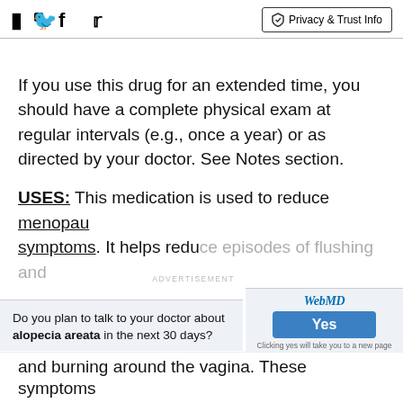Facebook Twitter | Privacy & Trust Info
If you use this drug for an extended time, you should have a complete physical exam at regular intervals (e.g., once a year) or as directed by your doctor. See Notes section.
USES: This medication is used to reduce menopausal symptoms. It helps reduce episodes of flushing and burning around the vagina. These symptoms...
Do you plan to talk to your doctor about alopecia areata in the next 30 days?
and burning around the vagina. These symptoms